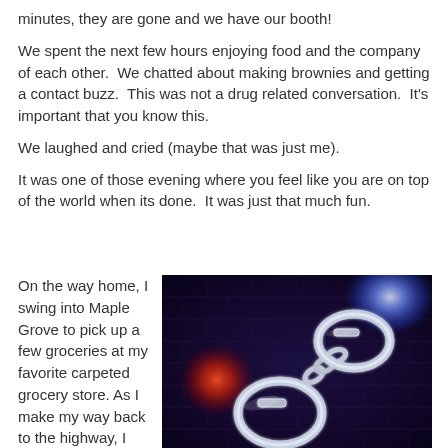minutes, they are gone and we have our booth!
We spent the next few hours enjoying food and the company of each other.  We chatted about making brownies and getting a contact buzz.  This was not a drug related conversation.  It's important that you know this.
We laughed and cried (maybe that was just me).
It was one of those evening where you feel like you are on top of the world when its done.  It was just that much fun.
On the way home, I swing into Maple Grove to pick up a few groceries at my favorite carpeted grocery store. As I make my way back to the highway, I
[Figure (photo): Photo of handcuffs against a dark brick wall background with red and blue police lights glowing]